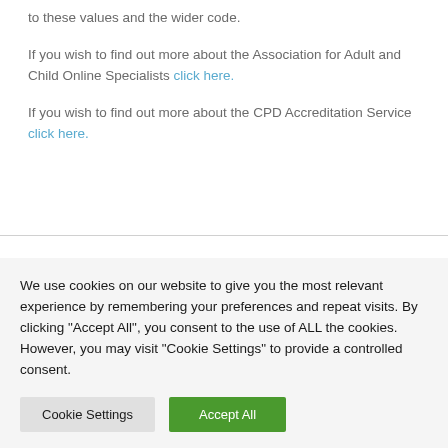to these values and the wider code.
If you wish to find out more about the Association for Adult and Child Online Specialists click here.
If you wish to find out more about the CPD Accreditation Service click here.
We use cookies on our website to give you the most relevant experience by remembering your preferences and repeat visits. By clicking "Accept All", you consent to the use of ALL the cookies. However, you may visit "Cookie Settings" to provide a controlled consent.